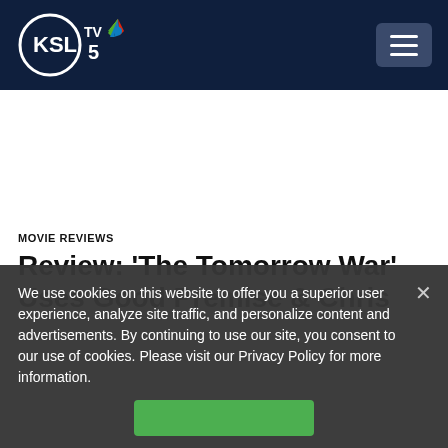KSL TV 5 NBC
MOVIE REVIEWS
Review: ‘The Tomorrow War’ Uses Good Premise & Chris
We use cookies on this website to offer you a superior user experience, analyze site traffic, and personalize content and advertisements. By continuing to use our site, you consent to our use of cookies. Please visit our Privacy Policy for more information.